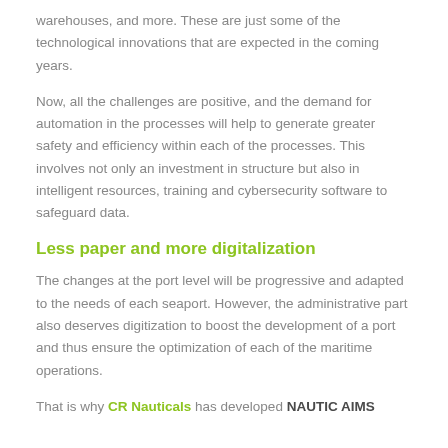warehouses, and more. These are just some of the technological innovations that are expected in the coming years.
Now, all the challenges are positive, and the demand for automation in the processes will help to generate greater safety and efficiency within each of the processes. This involves not only an investment in structure but also in intelligent resources, training and cybersecurity software to safeguard data.
Less paper and more digitalization
The changes at the port level will be progressive and adapted to the needs of each seaport. However, the administrative part also deserves digitization to boost the development of a port and thus ensure the optimization of each of the maritime operations.
That is why CR Nauticals has developed NAUTIC AIMS